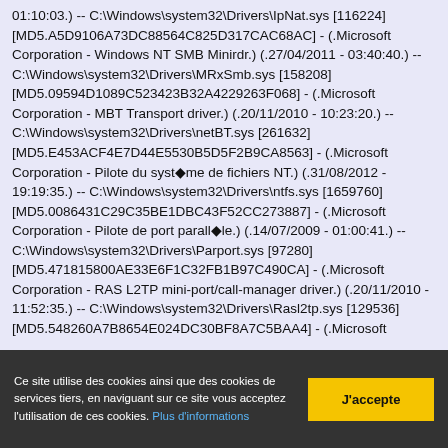01:10:03.) -- C:\Windows\system32\Drivers\IpNat.sys [116224] [MD5.A5D9106A73DC88564C825D317CAC68AC] - (.Microsoft Corporation - Windows NT SMB Minirdr.) (.27/04/2011 - 03:40:40.) -- C:\Windows\system32\Drivers\MRxSmb.sys [158208] [MD5.09594D1089C523423B32A4229263F068] - (.Microsoft Corporation - MBT Transport driver.) (.20/11/2010 - 10:23:20.) -- C:\Windows\system32\Drivers\netBT.sys [261632] [MD5.E453ACF4E7D44E5530B5D5F2B9CA8563] - (.Microsoft Corporation - Pilote du système de fichiers NT.) (.31/08/2012 - 19:19:35.) -- C:\Windows\system32\Drivers\ntfs.sys [1659760] [MD5.0086431C29C35BE1DBC43F52CC273887] - (.Microsoft Corporation - Pilote de port parallèle.) (.14/07/2009 - 01:00:41.) -- C:\Windows\system32\Drivers\Parport.sys [97280] [MD5.471815800AE33E6F1C32FB1B97C490CA] - (.Microsoft Corporation - RAS L2TP mini-port/call-manager driver.) (.20/11/2010 - 11:52:35.) -- C:\Windows\system32\Drivers\Rasl2tp.sys [129536] [MD5.548260A7B8654E024DC30BF8A7C5BAA4] - (.Microsoft
Ce site utilise des cookies ainsi que des cookies de services tiers, en naviguant sur ce site vous acceptez l'utilisation de ces cookies. Plus d'informations